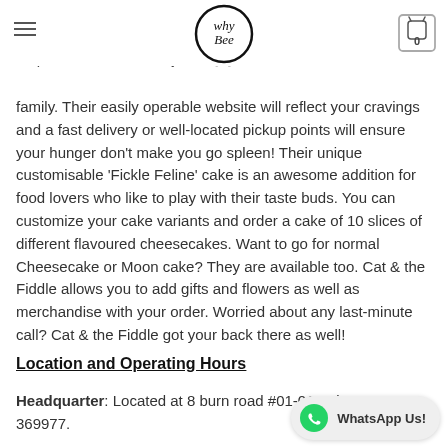whyBee — navigation header with logo and cart
You from the first bite. For sure, their collection is unique as well rich in variety. You can easily order for your birthday party, corporate occasions or just enjoy at home with friends and family. Their easily operable website will reflect your cravings and a fast delivery or well-located pickup points will ensure your hunger don't make you go spleen! Their unique customisable 'Fickle Feline' cake is an awesome addition for food lovers who like to play with their taste buds. You can customize your cake variants and order a cake of 10 slices of different flavoured cheesecakes. Want to go for normal Cheesecake or Moon cake? They are available too. Cat & the Fiddle allows you to add gifts and flowers as well as merchandise with your order. Worried about any last-minute call? Cat & the Fiddle got your back there as well!
Location and Operating Hours
Headquarter: Located at 8 burn road #01-01, Tri... 369977.